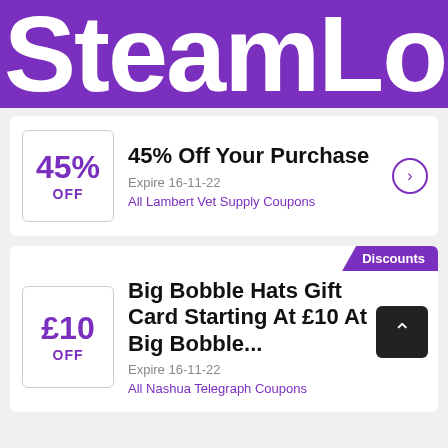SteamLo
45% Off Your Purchase
Expire 16-11-22
All Lambert Vet Supply Coupons
Discounts
Big Bobble Hats Gift Card Starting At £10 At Big Bobble...
Expire 16-11-22
All Nashua Telegraph Coupons